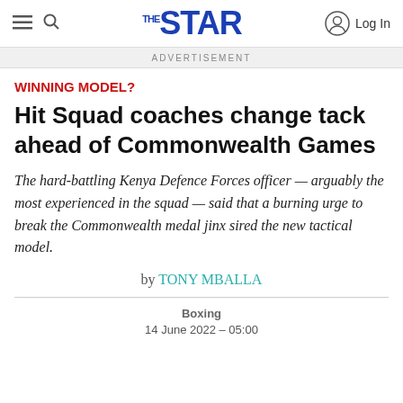The STAR — Log In
ADVERTISEMENT
WINNING MODEL?
Hit Squad coaches change tack ahead of Commonwealth Games
The hard-battling Kenya Defence Forces officer — arguably the most experienced in the squad — said that a burning urge to break the Commonwealth medal jinx sired the new tactical model.
by TONY MBALLA
Boxing
14 June 2022 – 05:00